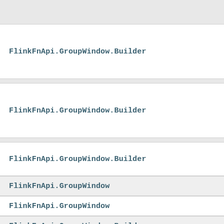FlinkFnApi.GroupWindow.Builder
FlinkFnApi.GroupWindow.Builder
FlinkFnApi.GroupWindow.Builder
FlinkFnApi.GroupWindow
FlinkFnApi.GroupWindow
FlinkFnApi.GroupWindow.Builder
FlinkFnApi.GroupWindow.Builder
FlinkFnApi.GroupWindow.Builder
FlinkFnApi.GroupWindow.Builder